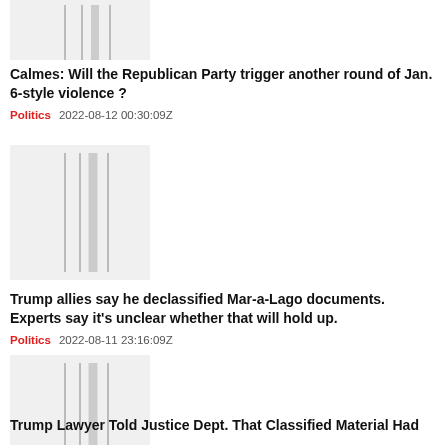[Figure (other): Thumbnail image placeholder with vertical gray bars (partially cropped at top)]
Calmes: Will the Republican Party trigger another round of Jan. 6-style violence ?
Politics   2022-08-12 00:30:09Z
[Figure (other): Thumbnail image placeholder with vertical gray bars]
Trump allies say he declassified Mar-a-Lago documents. Experts say it's unclear whether that will hold up.
Politics   2022-08-11 23:16:09Z
[Figure (other): Thumbnail image placeholder with vertical gray bars]
Trump Lawyer Told Justice Dept. That Classified Material Had